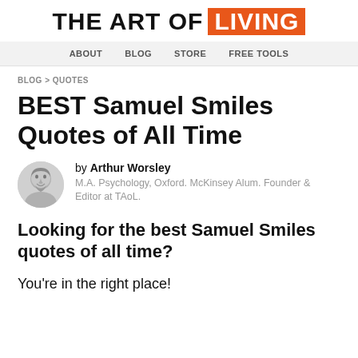THE ART OF LIVING
ABOUT  BLOG  STORE  FREE TOOLS
BLOG > QUOTES
BEST Samuel Smiles Quotes of All Time
by Arthur Worsley
M.A. Psychology, Oxford. McKinsey Alum. Founder & Editor at TAoL.
Looking for the best Samuel Smiles quotes of all time?
You're in the right place!